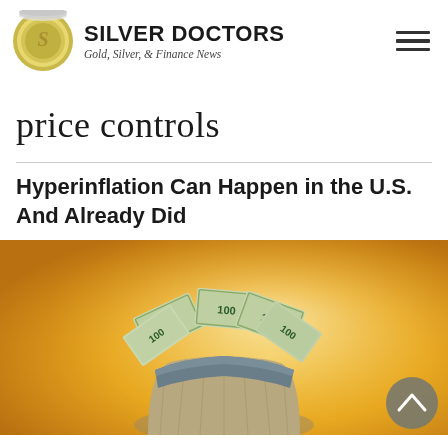SILVER DOCTORS — Gold, Silver, & Finance News
price controls
Hyperinflation Can Happen in the U.S. And Already Did
[Figure (photo): A burlap bag overflowing with US $100 dollar bills against a warm golden-yellow background.]